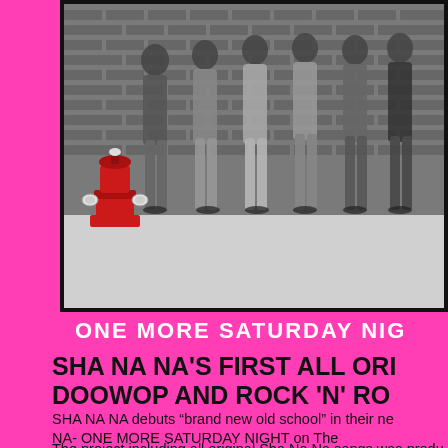[Figure (photo): Black and white photo of Sha Na Na band members standing against a brick wall, with a red fire hydrant in the foreground on the left]
ONE MORE SATURDAY NIGHT
SHA NA NA'S FIRST ALL ORIGINAL DOOWOP AND ROCK 'N' ROLL CD
SHA NA NA debuts "brand new old school" in their new CD: SHA NA NA- ONE MORE SATURDAY NIGHT on The...
The project including all original Sha Na Na songs was produced by drummer and WOODSTOCK veteran Jocko Marcellino. Jocko...